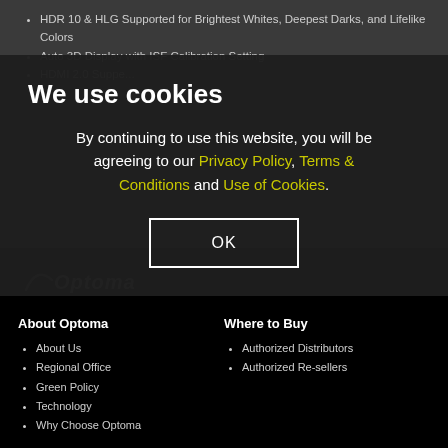HDR 10 & HLG Supported for Brightest Whites, Deepest Darks, and Lifelike Colors
Auto 3D Display with ISF Calibration Setting
HDMI 2.0 Suppe...
We use cookies
By continuing to use this website, you will be agreeing to our Privacy Policy, Terms & Conditions and Use of Cookies.
OK
[Figure (logo): Optoma logo in grey/white italic text with arc swoosh]
About Optoma
About Us
Regional Office
Green Policy
Technology
Why Choose Optoma
Where to Buy
Authorized Distributors
Authorized Re-sellers
Support
News